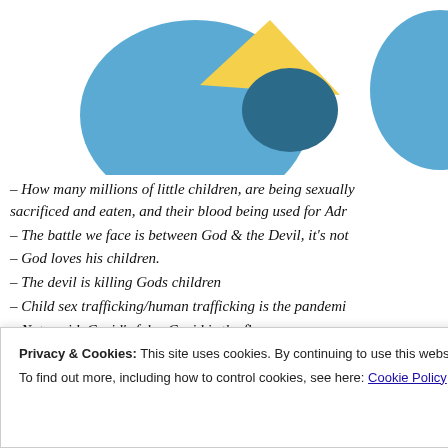[Figure (illustration): Decorative illustration showing blue and yellow abstract shapes/characters on white background, partially cropped at top of page.]
– How many millions of little children, are being sexually sacrificed and eaten, and their blood being used for Adr
– The battle we face is between God & the Devil, it's not
– God loves his children.
– The devil is killing Gods children
– Child sex trafficking/human trafficking is the pandemi
– Not covid. Covid's fake. Covid is the flu.
– Fauci is guilty with crimes against humanity
– The people that attended the fake inauguration, on a s cloudy, are guilty of treason!
Privacy & Cookies: This site uses cookies. By continuing to use this website, you agree to their use. To find out more, including how to control cookies, see here: Cookie Policy
Close and accept